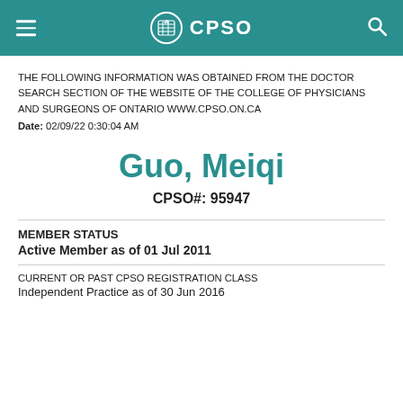CPSO
THE FOLLOWING INFORMATION WAS OBTAINED FROM THE DOCTOR SEARCH SECTION OF THE WEBSITE OF THE COLLEGE OF PHYSICIANS AND SURGEONS OF ONTARIO WWW.CPSO.ON.CA
Date: 02/09/22 0:30:04 AM
Guo, Meiqi
CPSO#: 95947
MEMBER STATUS
Active Member as of 01 Jul 2011
CURRENT OR PAST CPSO REGISTRATION CLASS
Independent Practice as of 30 Jun 2016